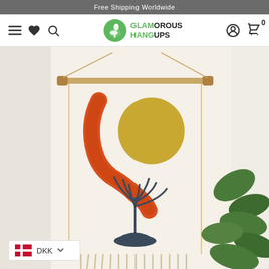Free Shipping Worldwide
[Figure (logo): Glamorous Hangups logo with flamingo icon and navigation bar including hamburger menu, heart, search icons on left and account, cart icons on right]
[Figure (photo): A boho wall hanging tapestry showing a textured orange arc, golden yellow circle (sun), and a dark blue cactus/plant outline with macrame fringe, mounted on a wooden dowel rod against a white wall with green plant leaves visible on the right]
DKK